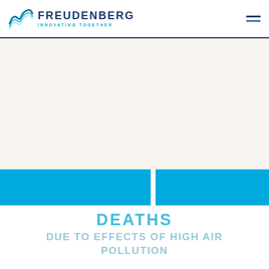FREUDENBERG INNOVATING TOGETHER
[Figure (logo): Freudenberg logo with wave/mountain icon and text 'FREUDENBERG INNOVATING TOGETHER' in blue]
DEATHS DUE TO EFFECTS OF HIGH AIR POLLUTION